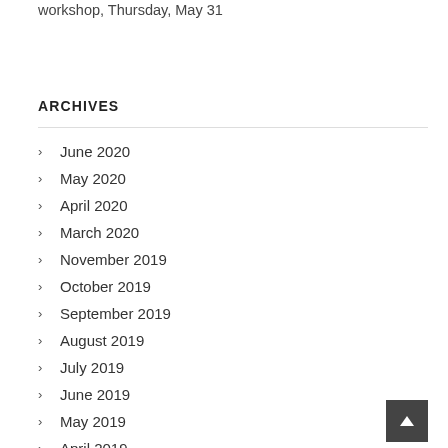lauriebass on Mary Stallings' Song Stylizing Vocal workshop, Thursday, May 31
ARCHIVES
June 2020
May 2020
April 2020
March 2020
November 2019
October 2019
September 2019
August 2019
July 2019
June 2019
May 2019
April 2019